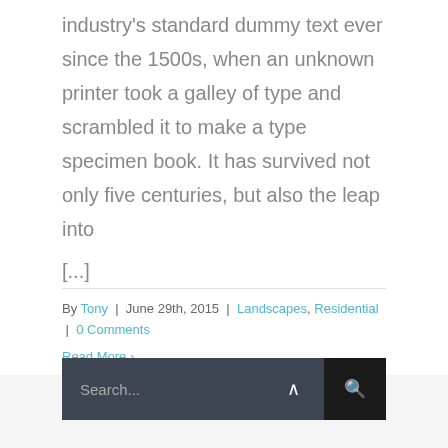industry's standard dummy text ever since the 1500s, when an unknown printer took a galley of type and scrambled it to make a type specimen book. It has survived not only five centuries, but also the leap into [...]
By Tony | June 29th, 2015 | Landscapes, Residential | 0 Comments
Read More >